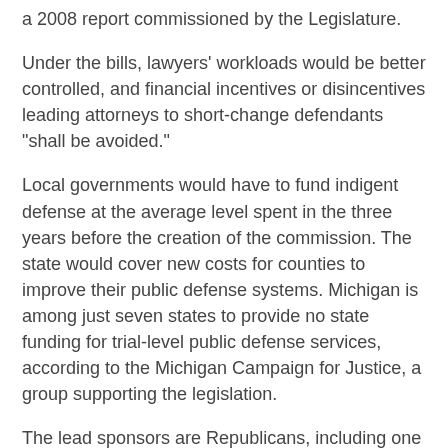a 2008 report commissioned by the Legislature.
Under the bills, lawyers' workloads would be better controlled, and financial incentives or disincentives leading attorneys to short-change defendants "shall be avoided."
Local governments would have to fund indigent defense at the average level spent in the three years before the creation of the commission. The state would cover new costs for counties to improve their public defense systems. Michigan is among just seven states to provide no state funding for trial-level public defense services, according to the Michigan Campaign for Justice, a group supporting the legislation.
The lead sponsors are Republicans, including one of the most conservative in the Capitol. Those GOPs look at the indigent defense issue, not as a constitution issue, but a a dollar and cents issue.
"We have people who are sent to jail who are innocent or sentenced to longer terms because they were not represented properly. Keep in mind that we also pay